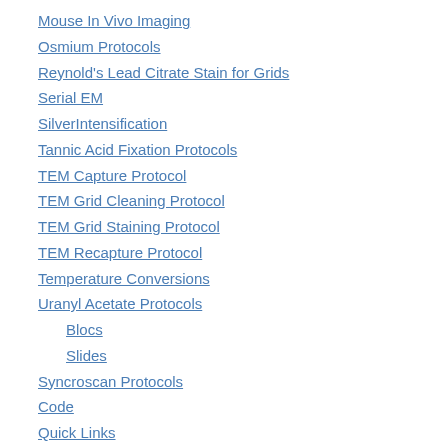Mouse In Vivo Imaging
Osmium Protocols
Reynold's Lead Citrate Stain for Grids
Serial EM
SilverIntensification
Tannic Acid Fixation Protocols
TEM Capture Protocol
TEM Grid Cleaning Protocol
TEM Grid Staining Protocol
TEM Recapture Protocol
Temperature Conversions
Uranyl Acetate Protocols
Blocs
Slides
Syncroscan Protocols
Code
Quick Links
Ophthalmology Bylaws
Technologies